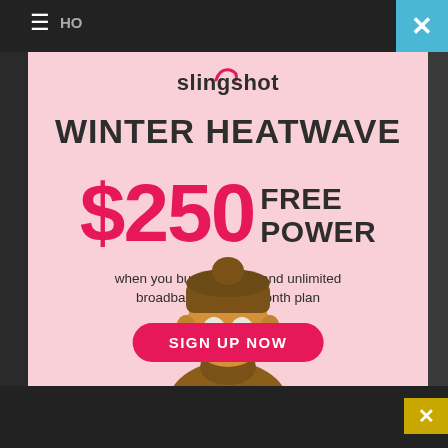[Figure (screenshot): Slingshot Winter Heatwave advertisement screenshot showing a mobile browser UI with a pink ad panel featuring a puppet character wearing a brown sweater and beanie hat.]
WINTER HEATWAVE
$250 FREE POWER
when you bundle power and unlimited broadband on a 12 month plan
SIGN UP NOW
New customers only. T's and C's apply. Service must remain active. Get up to $250 credit in two instalments. $250 for broadband and up to $250 in savings. slingshot.co.nz for full T&Cs.